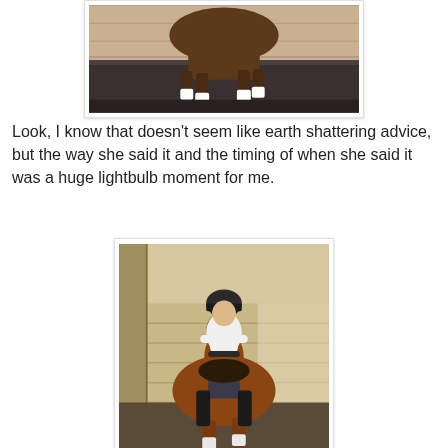[Figure (photo): A horse trotting in an indoor riding arena, showing legs with white leg wraps/boots, sandy arena floor, wooden wall backdrop. Partial view — top of horse cropped.]
Look, I know that doesn't seem like earth shattering advice, but the way she said it and the timing of when she said it was a huge lightbulb moment for me.
[Figure (photo): A rider wearing a black helmet and white short-sleeve show shirt riding a chestnut horse in an indoor arena. The rider has dark pants and tall black boots. The horse faces the camera walking forward on sandy arena footing with a wooden wall behind.]